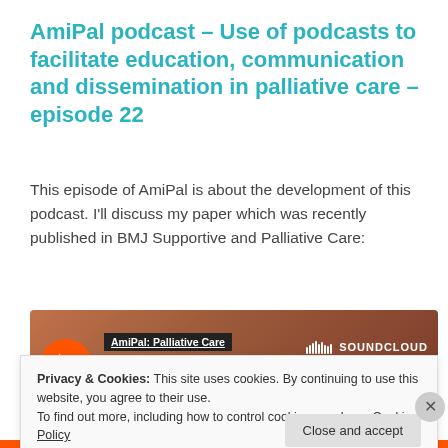AmiPal podcast – Use of podcasts to facilitate education, communication and dissemination in palliative care – episode 22
This episode of AmiPal is about the development of this podcast. I'll discuss my paper which was recently published in BMJ Supportive and Palliative Care:
[Figure (screenshot): SoundCloud embedded audio player showing 'AmiPal: Palliative Care' channel with episode 'Use of podcasts to facilitate ...' with orange play button, download and share buttons, and SoundCloud logo.]
Privacy & Cookies: This site uses cookies. By continuing to use this website, you agree to their use.
To find out more, including how to control cookies, see here: Cookie Policy
Close and accept